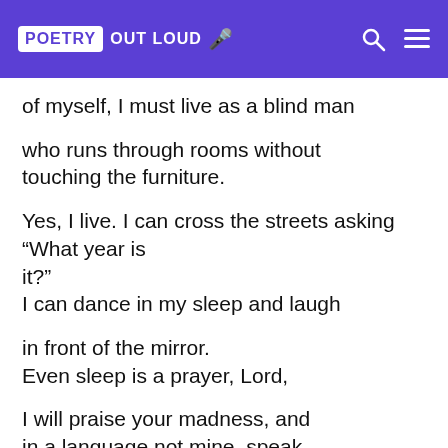POETRY OUT LOUD
of myself, I must live as a blind man
who runs through rooms without
touching the furniture.
Yes, I live. I can cross the streets asking “What year is it?"
I can dance in my sleep and laugh
in front of the mirror.
Even sleep is a prayer, Lord,
I will praise your madness, and
in a language not mine, speak
of music that wakes us, music
in which we move. For whatever I say